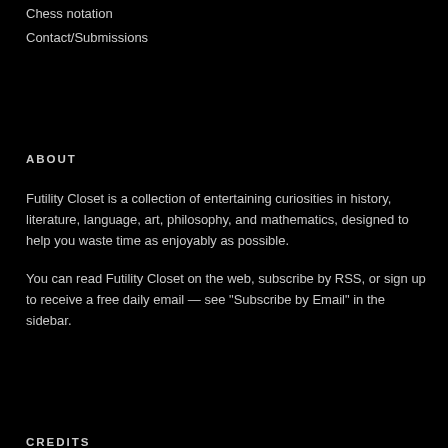Chess notation
Contact/Submissions
ABOUT
Futility Closet is a collection of entertaining curiosities in history, literature, language, art, philosophy, and mathematics, designed to help you waste time as enjoyably as possible.
You can read Futility Closet on the web, subscribe by RSS, or sign up to receive a free daily email — see “Subscribe by Email” in the sidebar.
CREDITS
© Futility Closet 2005-2022